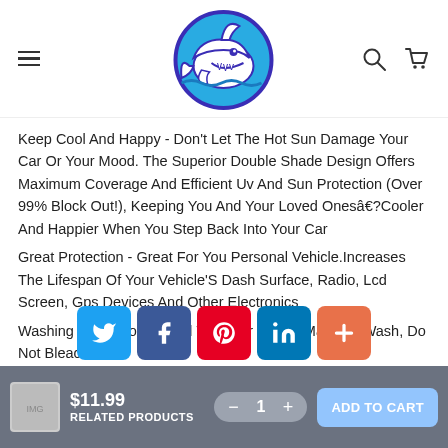[Figure (logo): Shark logo: a cartoon shark inside a blue circle with dark blue/purple outline, facing right with open mouth]
Keep Cool And Happy - Don't Let The Hot Sun Damage Your Car Or Your Mood. The Superior Double Shade Design Offers Maximum Coverage And Efficient Uv And Sun Protection (Over 99% Block Out!), Keeping You And Your Loved Onesâ€?Cooler And Happier When You Step Back Into Your Car
Great Protection - Great For You Personal Vehicle.Increases The Lifespan Of Your Vehicle'S Dash Surface, Radio, Lcd Screen, Gps Devices And Other Electronics
Washing Instruction - Hand Wash Or Gentle Machine Wash, Do Not Bleach
[Figure (other): Social share buttons: Twitter (blue), Facebook (dark blue), Pinterest (red), LinkedIn (blue), Plus/More (orange-red)]
$11.99
RELATED PRODUCTS
ADD TO CART